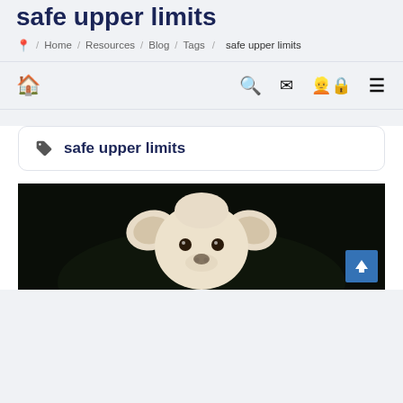safe upper limits
/ Home / Resources / Blog / Tags / safe upper limits
🏠 🔍 ✉ 👤🔒 ≡
safe upper limits
[Figure (photo): A white fluffy puppy (poodle-type dog) facing the camera with a dark/black background, ears slightly extended to the sides]